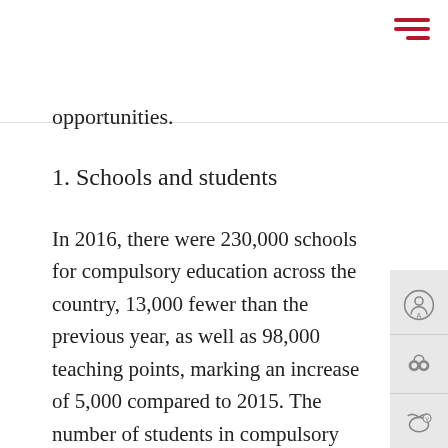opportunities.
1. Schools and students
In 2016, there were 230,000 schools for compulsory education across the country, 13,000 fewer than the previous year, as well as 98,000 teaching points, marking an increase of 5,000 compared to 2015. The number of students in compulsory education was 140 million, an increase of 1.7%, or 2.382 million students from 2015.
The number of students enrolled and retained in